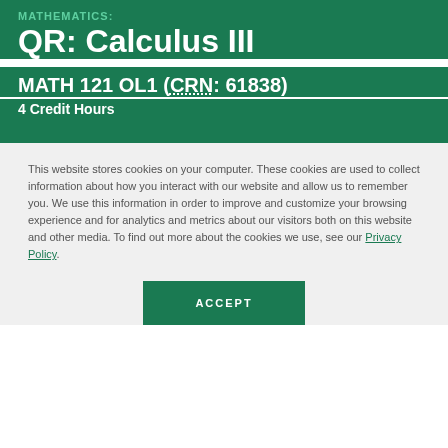MATHEMATICS: QR: Calculus III
MATH 121 OL1 (CRN: 61838)
4 Credit Hours
This website stores cookies on your computer. These cookies are used to collect information about how you interact with our website and allow us to remember you. We use this information in order to improve and customize your browsing experience and for analytics and metrics about our visitors both on this website and other media. To find out more about the cookies we use, see our Privacy Policy.
ACCEPT